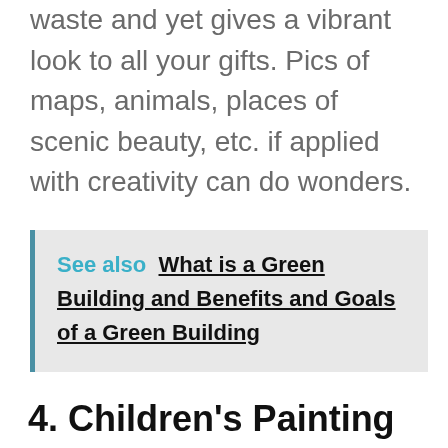waste and yet gives a vibrant look to all your gifts. Pics of maps, animals, places of scenic beauty, etc. if applied with creativity can do wonders.
See also  What is a Green Building and Benefits and Goals of a Green Building
4. Children's Painting